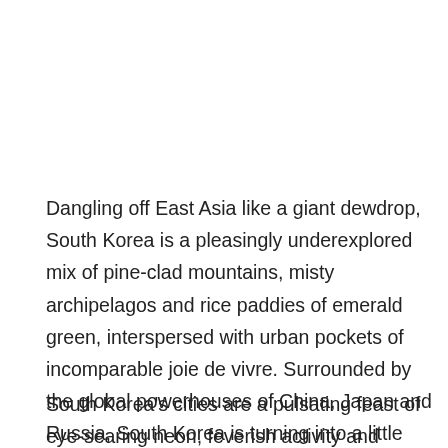Dangling off East Asia like a giant dewdrop, South Korea is a pleasingly underexplored mix of pine-clad mountains, misty archipelagos and rice paddies of emerald green, interspersed with urban pockets of incomparable joie de vivre. Surrounded by the global powerhouses of China, Japan and Russia, South Korea is turning into a little powerhouse of its own, and its traditions and customs have largely survived intact through troubled times.
South Korea's cities are a pulsating feast of eye-searing neon, feverish activity and round-the-clock business. Here